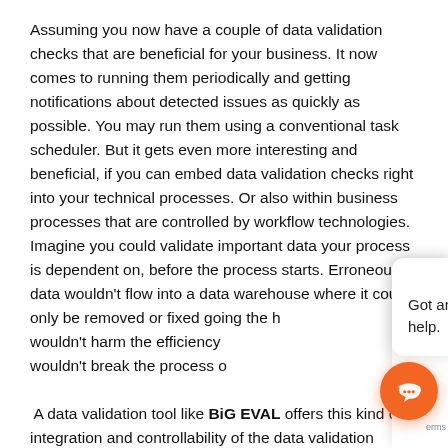Assuming you now have a couple of data validation checks that are beneficial for your business. It now comes to running them periodically and getting notifications about detected issues as quickly as possible. You may run them using a conventional task scheduler. But it gets even more interesting and beneficial, if you can embed data validation checks right into your technical processes. Or also within business processes that are controlled by workflow technologies. Imagine you could validate important data your process is dependent on, before the process starts. Erroneous data wouldn't flow into a data warehouse where it could only be removed or fixed going the h[ard way. Bad data wouldn't harm the efficiency [of your process. Bad data] wouldn't break the process o[r delay it.]
A data validation tool like BiG EVAL offers this kind of integration and controllability of the data validation process. Embeddi[ng] validation tests into your workflows or technical processes[  is] simple and existing processes do not need to be changed